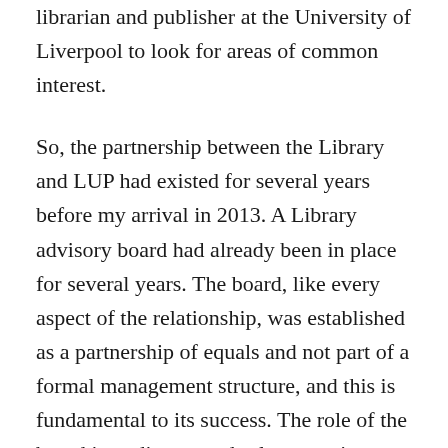librarian and publisher at the University of Liverpool to look for areas of common interest.
So, the partnership between the Library and LUP had existed for several years before my arrival in 2013. A Library advisory board had already been in place for several years. The board, like every aspect of the relationship, was established as a partnership of equals and not part of a formal management structure, and this is fundamental to its success. The role of the board is to discuss and select ongoing, mutually beneficial collaboration that is centred on the needs of the University, while each separate entity continues to do its core business independent of the other partner.
In addition to the advisory board, the Library and LUP